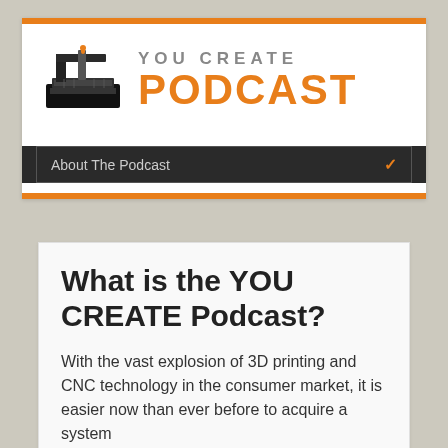[Figure (logo): YOU CREATE PODCAST logo with CNC machine icon on the left and text 'YOU CREATE' in gray and 'PODCAST' in orange on the right]
About The Podcast
What is the YOU CREATE Podcast?
With the vast explosion of 3D printing and CNC technology in the consumer market, it is easier now than ever before to acquire a system